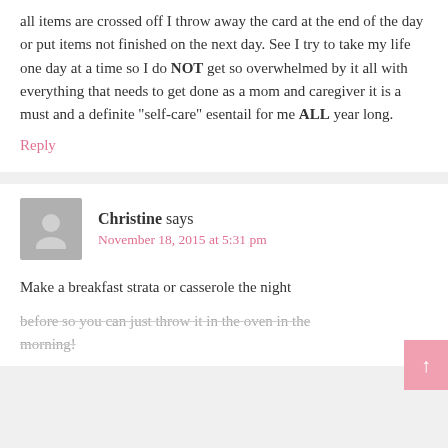all items are crossed off I throw away the card at the end of the day or put items not finished on the next day. See I try to take my life one day at a time so I do NOT get so overwhelmed by it all with everything that needs to get done as a mom and caregiver it is a must and a definite "self-care" esentail for me ALL year long.
Reply
Christine says
November 18, 2015 at 5:31 pm
Make a breakfast strata or casserole the night before so you can just throw it in the oven in the morning!